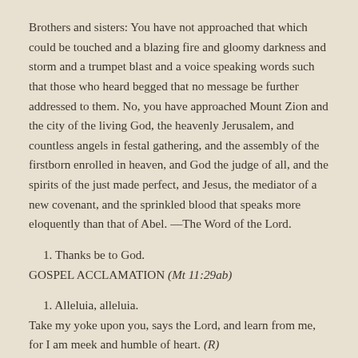Brothers and sisters: You have not approached that which could be touched and a blazing fire and gloomy darkness and storm and a trumpet blast and a voice speaking words such that those who heard begged that no message be further addressed to them. No, you have approached Mount Zion and the city of the living God, the heavenly Jerusalem, and countless angels in festal gathering, and the assembly of the firstborn enrolled in heaven, and God the judge of all, and the spirits of the just made perfect, and Jesus, the mediator of a new covenant, and the sprinkled blood that speaks more eloquently than that of Abel. —The Word of the Lord.
1. Thanks be to God.
GOSPEL ACCLAMATION (Mt 11:29ab)
1. Alleluia, alleluia.
Take my yoke upon you, says the Lord, and learn from me, for I am meek and humble of heart. (R)